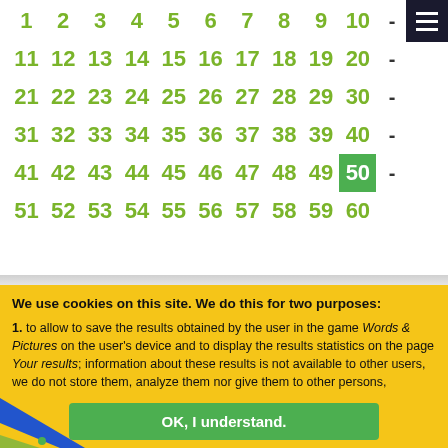| 1 | 2 | 3 | 4 | 5 | 6 | 7 | 8 | 9 | 10 | - |
| 11 | 12 | 13 | 14 | 15 | 16 | 17 | 18 | 19 | 20 | - |
| 21 | 22 | 23 | 24 | 25 | 26 | 27 | 28 | 29 | 30 | - |
| 31 | 32 | 33 | 34 | 35 | 36 | 37 | 38 | 39 | 40 | - |
| 41 | 42 | 43 | 44 | 45 | 46 | 47 | 48 | 49 | 50 | - |
| 51 | 52 | 53 | 54 | 55 | 56 | 57 | 58 | 59 | 60 |  |
We use cookies on this site. We do this for two purposes:
1. to allow to save the results obtained by the user in the game Words & Pictures on the user's device and to display the results statistics on the page Your results; information about these results is not available to other users, we do not store them, analyze them nor give them to other persons,
OK, I understand.